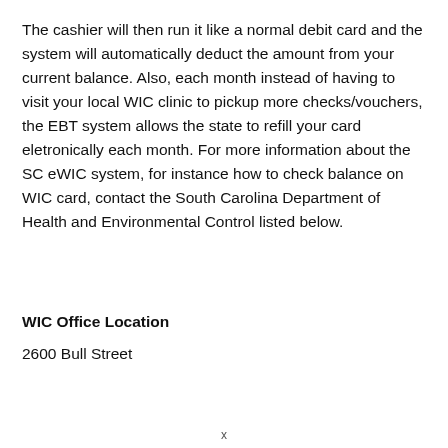The cashier will then run it like a normal debit card and the system will automatically deduct the amount from your current balance. Also, each month instead of having to visit your local WIC clinic to pickup more checks/vouchers, the EBT system allows the state to refill your card eletronically each month. For more information about the SC eWIC system, for instance how to check balance on WIC card, contact the South Carolina Department of Health and Environmental Control listed below.
WIC Office Location
2600 Bull Street
x